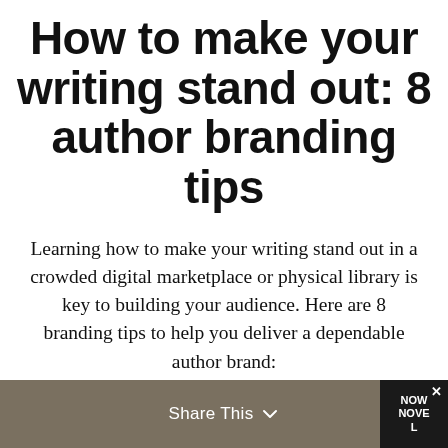How to make your writing stand out: 8 author branding tips
Learning how to make your writing stand out in a crowded digital marketplace or physical library is key to building your audience. Here are 8 branding tips to help you deliver a dependable author brand:
By Jordan   No Comments
Share This